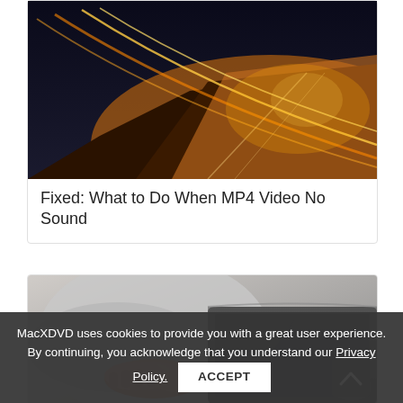[Figure (photo): Night highway with light trails, warm orange glow, blurred motion]
Fixed: What to Do When MP4 Video No Sound
[Figure (photo): Person typing on a MacBook laptop, blurred background, hands on keyboard]
MacXDVD uses cookies to provide you with a great user experience. By continuing, you acknowledge that you understand our Privacy Policy. ACCEPT